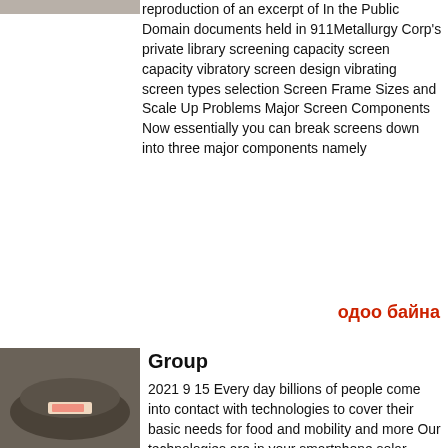[Figure (photo): Industrial equipment photo at top left, partially visible]
reproduction of an excerpt of In the Public Domain documents held in 911Metallurgy Corp's private library screening capacity screen capacity vibratory screen design vibrating screen types selection Screen Frame Sizes and Scale Up Problems Major Screen Components Now essentially you can break screens down into three major components namely
одоо байна
[Figure (photo): Round stone or concrete disc object with a pink label, placed on a surface]
Group
2021 9 15 Every day billions of people come into contact with technologies to cover their basic needs for food and mobility and more Our technologies are in your smartphone solar panels diapers lipstick banknotes the foods you eat and the vehicles you drive We strive to create innovations for a better world with a special focus on
одоо байна
[Figure (photo): Construction or mill site with metal structures and equipment]
PDF
Ml Mill